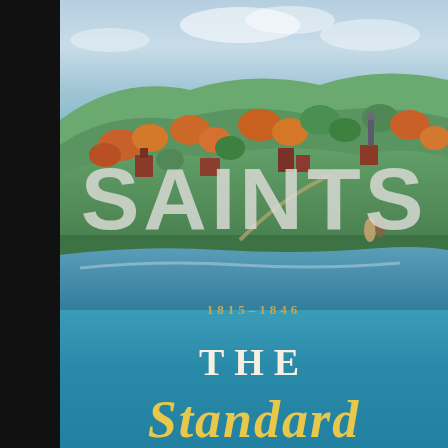[Figure (illustration): Book cover for 'Saints 1815–1846'. Upper portion shows a painted aerial landscape of a 19th-century American town with rolling green hills, autumn-colored trees (orange, red, green), red brick buildings, a river or body of water in the foreground, and a blue sky with soft clouds. Over the landscape in large semi-transparent white letters is the word 'SAINTS'. Below that is a date range '1815–1846' in small gold letters. The lower third features a teal/turquoise blue band with the words 'THE STANDARD' — 'THE' in white serif letters and 'STANDARD' in large gold italic serif letters. The left edge of the image is cut off by a black strip.]